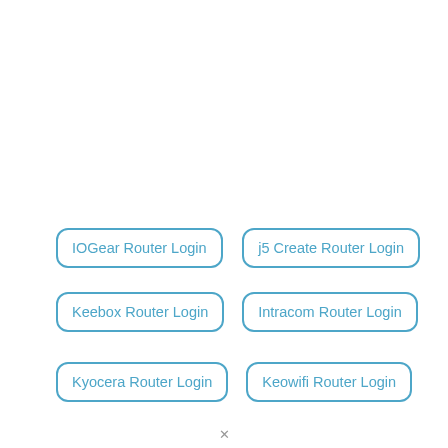IOGear Router Login
j5 Create Router Login
Keebox Router Login
Intracom Router Login
Kyocera Router Login
Keowifi Router Login